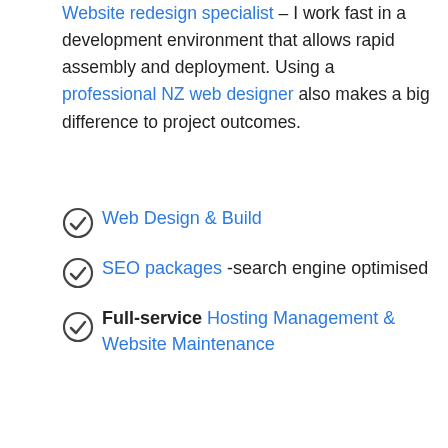Website redesign specialist – I work fast in a development environment that allows rapid assembly and deployment. Using a professional NZ web designer also makes a big difference to project outcomes.
Web Design & Build
SEO packages -search engine optimised
Full-service Hosting Management & Website Maintenance